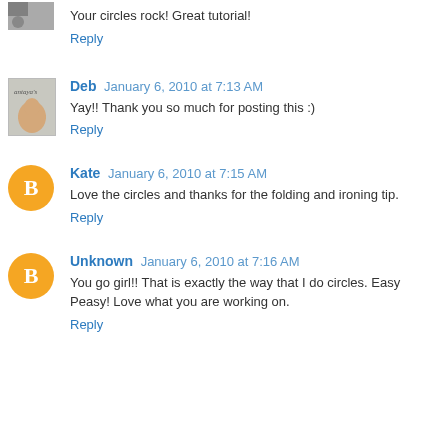Your circles rock! Great tutorial!
Reply
Deb January 6, 2010 at 7:13 AM
Yay!! Thank you so much for posting this :)
Reply
Kate January 6, 2010 at 7:15 AM
Love the circles and thanks for the folding and ironing tip.
Reply
Unknown January 6, 2010 at 7:16 AM
You go girl!! That is exactly the way that I do circles. Easy Peasy! Love what you are working on.
Reply